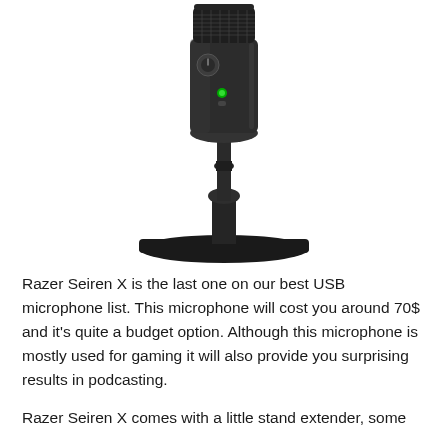[Figure (photo): A Razer Seiren X USB microphone on a circular stand, shown in black with a green LED indicator light and a volume/mute knob on the body, photographed from the front against a white background.]
Razer Seiren X is the last one on our best USB microphone list. This microphone will cost you around 70$ and it's quite a budget option. Although this microphone is mostly used for gaming it will also provide you surprising results in podcasting.
Razer Seiren X comes with a little stand extender, some